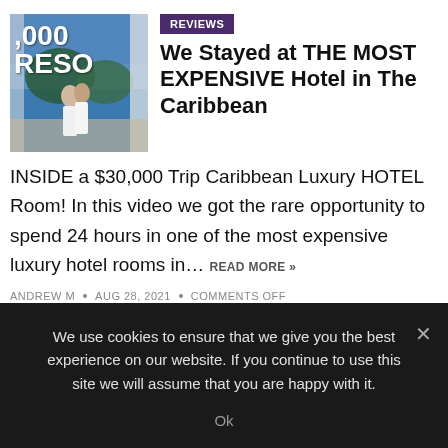[Figure (photo): Thumbnail image of a couple on a luxury hotel balcony with ocean view, overlaid with partial text ',000 RESO']
REVIEWS
We Stayed at THE MOST EXPENSIVE Hotel in The Caribbean
INSIDE a $30,000 Trip Caribbean Luxury HOTEL Room! In this video we got the rare opportunity to spend 24 hours in one of the most expensive luxury hotel rooms in… READ MORE »
ANDREW M • AUG 28, 2021 • COMMENTS OFF
We use cookies to ensure that we give you the best experience on our website. If you continue to use this site we will assume that you are happy with it.
Ok